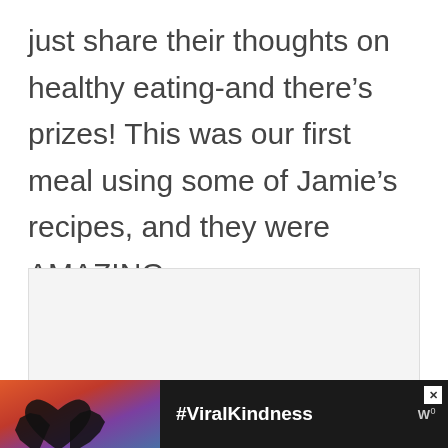just share their thoughts on healthy eating-and there's prizes! This was our first meal using some of Jamie's recipes, and they were AMAZING.
[Figure (photo): A placeholder image area (light gray rectangle representing an embedded photo)]
[Figure (photo): Advertisement bar at bottom: dark background with image of hands forming a heart shape against a sunset sky, text '#ViralKindness', and a brand logo on the right. Has a close (X) button.]